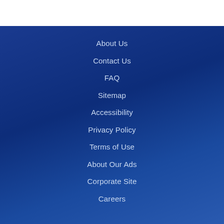About Us
Contact Us
FAQ
Sitemap
Accessibility
Privacy Policy
Terms of Use
About Our Ads
Corporate Site
Careers